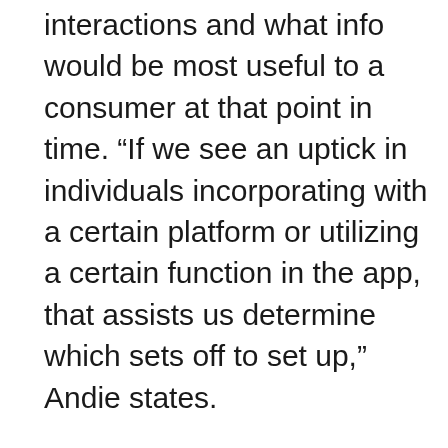interactions and what info would be most useful to a consumer at that point in time. “If we see an uptick in individuals incorporating with a certain platform or utilizing a certain function in the app, that assists us determine which sets off to set up,” Andie states.